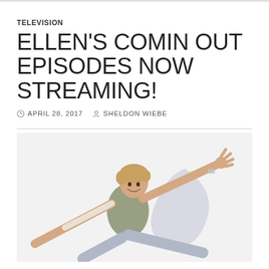TELEVISION
ELLEN'S COMIN OUT EPISODES NOW STREAMING!
APRIL 28, 2017   SHELDON WIEBE
[Figure (photo): Ellen DeGeneres posing with arms spread wide in a playful, energetic stance, wearing a vest over a long-sleeve shirt and grey pants, against a light background with a grey curved design element]